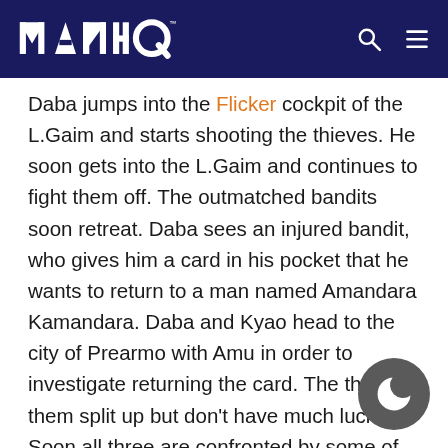MAHQ [logo] [search icon] [menu icon]
Daba jumps into the Flicker cockpit of the L.Gaim and starts shooting the thieves. He soon gets into the L.Gaim and continues to fight them off. The outmatched bandits soon retreat. Daba sees an injured bandit, who gives him a card in his pocket that he wants to return to a man named Amandara Kamandara. Daba and Kyao head to the city of Prearmo with Amu in order to investigate returning the card. The three of them split up but don't have much luck. Soon all three are confronted by some of the bandits and flee from that part of the city. Daba wanders into a small theater where he sees an old man talking to a fairy. Daba offers to trade the cash card for the fairy, named Lilith. Upon finding the high value of the card, the man gladly does it, but Lilith steals the card back and a group of men soon